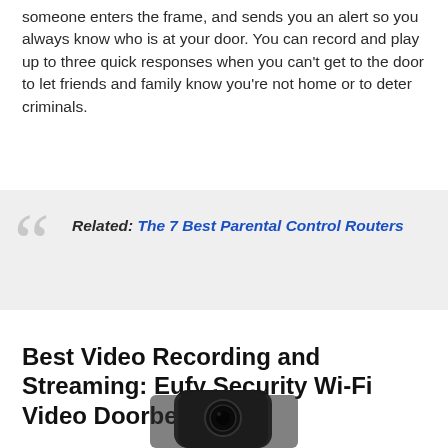someone enters the frame, and sends you an alert so you always know who is at your door. You can record and play up to three quick responses when you can't get to the door to let friends and family know you're not home or to deter criminals.
Related: The 7 Best Parental Control Routers
Best Video Recording and Streaming: Eufy Security Wi-Fi Video Doorbell
[Figure (photo): Partial image of a black Eufy Security Wi-Fi Video Doorbell device at the bottom of the page]